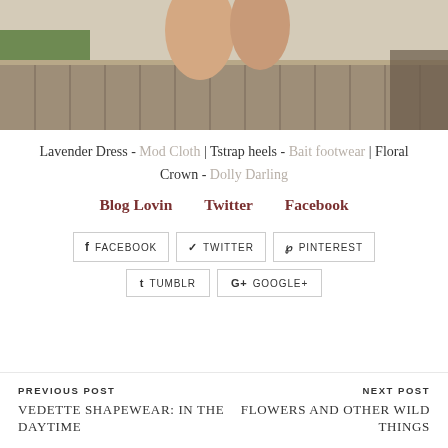[Figure (photo): Cropped photo of feet/legs on a wooden deck with grass visible, outdoor setting]
Lavender Dress - Mod Cloth | Tstrap heels - Bait footwear | Floral Crown - Dolly Darling
Blog Lovin   Twitter   Facebook
FACEBOOK  TWITTER  PINTEREST  TUMBLR  GOOGLE+
PREVIOUS POST
Vedette Shapewear: in the daytime
NEXT POST
Flowers and other wild things